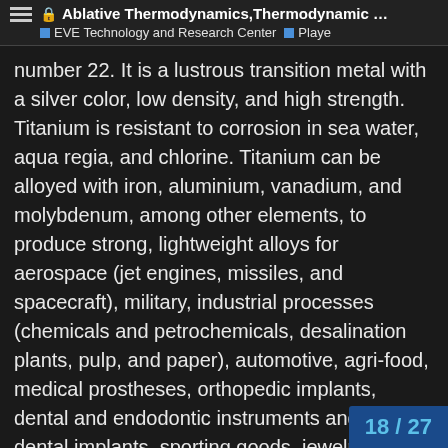🔒 Ablative Thermodynamics,Thermodynamic … | EVE Technology and Research Center | Playe
number 22. It is a lustrous transition metal with a silver color, low density, and high strength. Titanium is resistant to corrosion in sea water, aqua regia, and chlorine. Titanium can be alloyed with iron, aluminium, vanadium, and molybdenum, among other elements, to produce strong, lightweight alloys for aerospace (jet engines, missiles, and spacecraft), military, industrial processes (chemicals and petrochemicals, desalination plants, pulp, and paper), automotive, agri-food, medical prostheses, orthopedic implants, dental and endodontic instruments and files, dental implants, sporting goods, jewelry, mobile phones, and other applications.[5]
The two most useful properties of the metal are corrosion resistanc
18 / 27